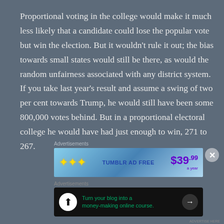Proportional voting in the college would make it much less likely that a candidate could lose the popular vote but win the election. But it wouldn't rule it out; the bias towards small states would still be there, as would the random unfairness associated with any district system. If you take last year's result and assume a swing of two per cent towards Trump, he would still have been some 800,000 votes behind. But in a proportional electoral college he would have had just enough to win, 271 to 267.
[Figure (other): Tumblr Ad-Free advertisement banner showing '$39.99 a year' price with stars graphic]
[Figure (other): Advertisement banner: 'Turn your blog into a money-making online course.' with arrow button on dark background]